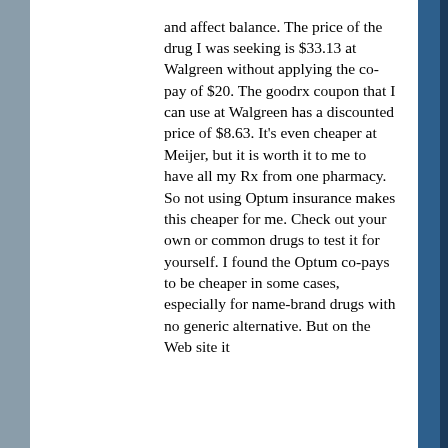and affect balance.  The price of the drug I was seeking is $33.13 at Walgreen without applying the co-pay of $20.  The goodrx coupon that I can use at Walgreen has a discounted price of $8.63.  It's even cheaper at Meijer, but it is worth it to me to have all my Rx from one pharmacy.  So not using Optum insurance makes this cheaper for me.  Check out your own or common drugs to test it for yourself.  I found the Optum co-pays to be cheaper in some cases, especially for name-brand drugs with no generic alternative.  But on the Web site it